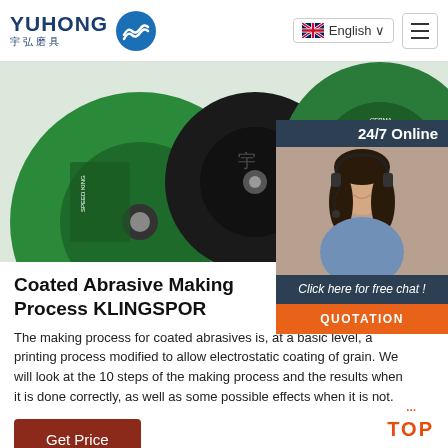YUHONG 宇弘磨具 | English
[Figure (photo): Multiple green and black coated abrasive grinding discs (cutting wheels) displayed overlapping each other, with Chinese branding visible]
[Figure (photo): 24/7 Online customer service chat widget showing a smiling woman with headset, dark blue background, with 'Click here for free chat!' text and orange QUOTATION button]
Coated Abrasive Making Process KLINGSPOR
The making process for coated abrasives is, at a basic level, a printing process modified to allow electrostatic coating of grain. We will look at the 10 steps of the making process and the results when it is done correctly, as well as some possible effects when it is not.
Get Price